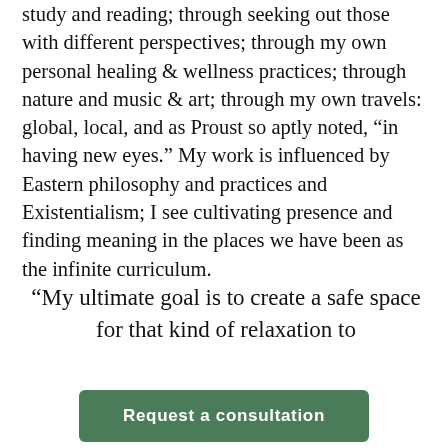study and reading; through seeking out those with different perspectives; through my own personal healing & wellness practices; through nature and music & art; through my own travels: global, local, and as Proust so aptly noted, “in having new eyes.” My work is influenced by Eastern philosophy and practices and Existentialism; I see cultivating presence and finding meaning in the places we have been as the infinite curriculum.
“My ultimate goal is to create a safe space for that kind of relaxation to
Request a consultation